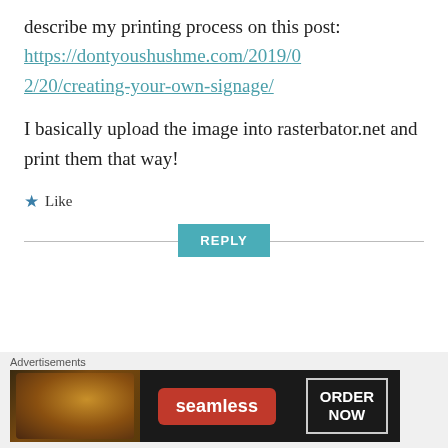describe my printing process on this post:
https://dontyoushushme.com/2019/02/20/creating-your-own-signage/
I basically upload the image into rasterbator.net and print them that way!
Like
REPLY
Advertisements
[Figure (photo): Seamless food delivery advertisement banner showing pizza image on left, Seamless logo in center, and ORDER NOW button on right]